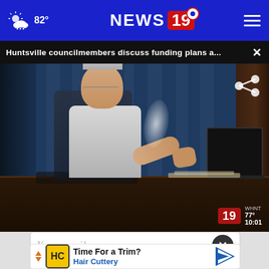82° NEWS 19
Huntsville councilmembers discuss funding plans a... ×
[Figure (screenshot): Video frame showing an elderly man in a white shirt seated at a dark desk, gesturing with his hands, in a dimly lit council chamber with blue curtains in the background. NEWS 19 watermark with 77° and 10:01 in lower right.]
Your email
Time For a Trim? Hair Cuttery